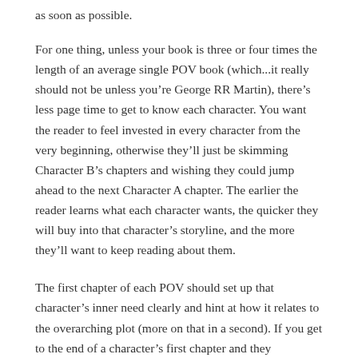as soon as possible.
For one thing, unless your book is three or four times the length of an average single POV book (which...it really should not be unless you’re George RR Martin), there’s less page time to get to know each character. You want the reader to feel invested in every character from the very beginning, otherwise they’ll just be skimming Character B’s chapters and wishing they could jump ahead to the next Character A chapter. The earlier the reader learns what each character wants, the quicker they will buy into that character’s storyline, and the more they’ll want to keep reading about them.
The first chapter of each POV should set up that character’s inner need clearly and hint at how it relates to the overarching plot (more on that in a second). If you get to the end of a character’s first chapter and they